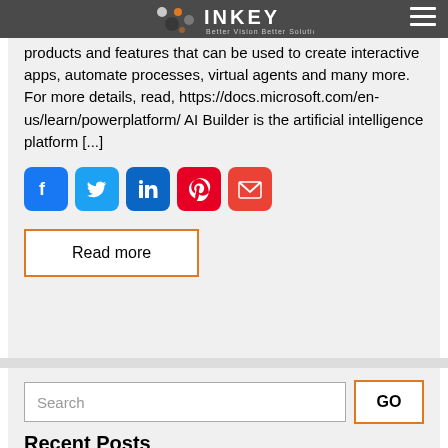INKEY — Better Vision Better Solutions
products and features that can be used to create interactive apps, automate processes, virtual agents and many more. For more details, read, https://docs.microsoft.com/en-us/learn/powerplatform/ AI Builder is the artificial intelligence platform [...]
[Figure (other): Social sharing icons row: Facebook (blue), Twitter (teal), LinkedIn (blue), Pinterest (red), Gmail (red/orange)]
Read more
Search
GO
Recent Posts